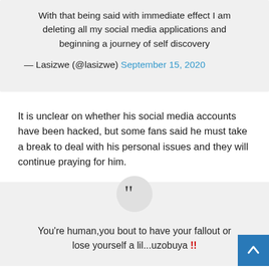With that being said with immediate effect I am deleting all my social media applications and beginning a journey of self discovery

— Lasizwe (@lasizwe) September 15, 2020
It is unclear on whether his social media accounts have been hacked, but some fans said he must take a break to deal with his personal issues and they will continue praying for him.
You're human,you bout to have your fallout or lose yourself a lil...uzobuya !!